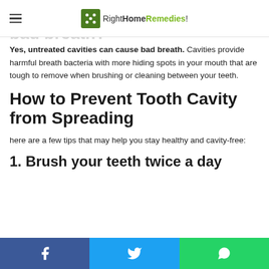RightHomeRemedies!
Can untreated cavities cause bad breath?
Yes, untreated cavities can cause bad breath. Cavities provide harmful breath bacteria with more hiding spots in your mouth that are tough to remove when brushing or cleaning between your teeth.
How to Prevent Tooth Cavity from Spreading
here are a few tips that may help you stay healthy and cavity-free:
1. Brush your teeth twice a day